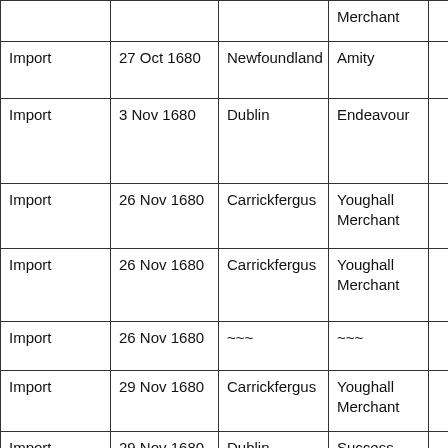| Type | Date | Port | Vessel |  |
| --- | --- | --- | --- | --- |
|  |  |  | Merchant |  |
| Import | 27 Oct 1680 | Newfoundland | Amity |  |
| Import | 3 Nov 1680 | Dublin | Endeavour |  |
| Import | 26 Nov 1680 | Carrickfergus | Youghall Merchant |  |
| Import | 26 Nov 1680 | Carrickfergus | Youghall Merchant |  |
| Import | 26 Nov 1680 | ~~~ | ~~~ |  |
| Import | 29 Nov 1680 | Carrickfergus | Youghall Merchant |  |
| Import | 29 Nov 1680 | Dublin | Success |  |
| Import | 30 Nov 1680 | Youghall | Two Brothers |  |